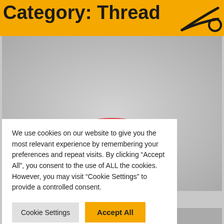Category: Thread
[Figure (photo): A red and black thread spool on a grey textured background]
We use cookies on our website to give you the most relevant experience by remembering your preferences and repeat visits. By clicking “Accept All”, you consent to the use of ALL the cookies. However, you may visit "Cookie Settings" to provide a controlled consent.
Cookie Settings | Accept All